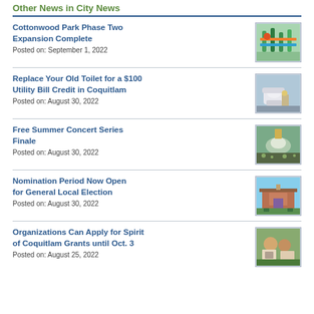Other News in City News
Cottonwood Park Phase Two Expansion Complete
Posted on: September 1, 2022
[Figure (photo): Photo of colorful playground equipment]
Replace Your Old Toilet for a $100 Utility Bill Credit in Coquitlam
Posted on: August 30, 2022
[Figure (photo): Photo of a person installing a toilet]
Free Summer Concert Series Finale
Posted on: August 30, 2022
[Figure (photo): Photo of an outdoor concert venue with crowd]
Nomination Period Now Open for General Local Election
Posted on: August 30, 2022
[Figure (photo): Photo of a municipal building exterior]
Organizations Can Apply for Spirit of Coquitlam Grants until Oct. 3
Posted on: August 25, 2022
[Figure (photo): Photo of people reviewing documents outdoors]